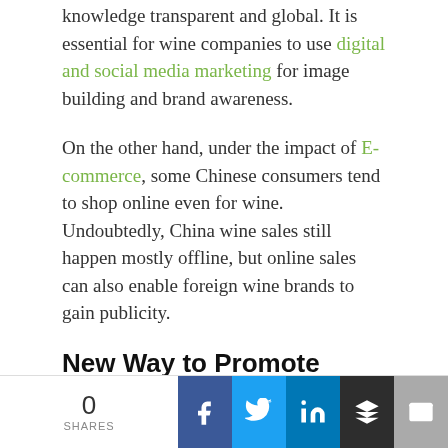knowledge transparent and global. It is essential for wine companies to use digital and social media marketing for image building and brand awareness.
On the other hand, under the impact of E-commerce, some Chinese consumers tend to shop online even for wine. Undoubtedly, China wine sales still happen mostly offline, but online sales can also enable foreign wine brands to gain publicity.
New Way to Promote Wine Sales in Restaurant
0 SHARES